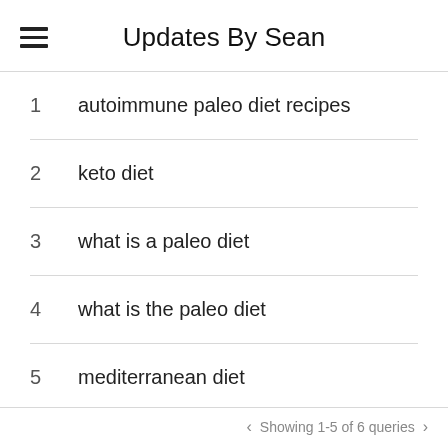Updates By Sean
1  autoimmune paleo diet recipes
2  keto diet
3  what is a paleo diet
4  what is the paleo diet
5  mediterranean diet
Showing 1-5 of 6 queries